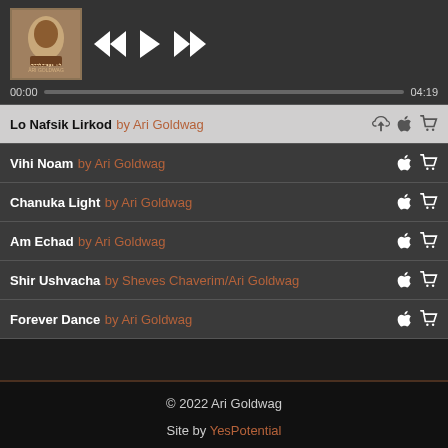[Figure (screenshot): Music player UI with album art for Ari Goldwag, playback controls (rewind, play, fast-forward), progress bar showing 00:00 to 04:19, and a track list with 6 songs]
Lo Nafsik Lirkod by Ari Goldwag
Vihi Noam by Ari Goldwag
Chanuka Light by Ari Goldwag
Am Echad by Ari Goldwag
Shir Ushvacha by Sheves Chaverim/Ari Goldwag
Forever Dance by Ari Goldwag
© 2022 Ari Goldwag
Site by YesPotential